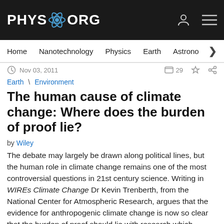PHYS.ORG
Home | Nanotechnology | Physics | Earth | Astronomy
Nov 03, 2011   29
Earth \ Environment
The human cause of climate change: Where does the burden of proof lie?
by Wiley
The debate may largely be drawn along political lines, but the human role in climate change remains one of the most controversial questions in 21st century science. Writing in WIREs Climate Change Dr Kevin Trenberth, from the National Center for Atmospheric Research, argues that the evidence for anthropogenic climate change is now so clear that the burden of proof should lie with research which